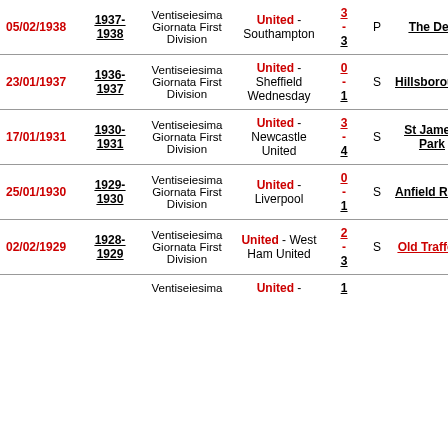| Date | Season | Match Type | Teams | Score | Result | Venue |
| --- | --- | --- | --- | --- | --- | --- |
| 05/02/1938 | 1937-1938 | Ventiseiesima Giornata First Division | United - Southampton | 3-3 | P | The Dell |
| 23/01/1937 | 1936-1937 | Ventiseiesima Giornata First Division | United - Sheffield Wednesday | 0-1 | S | Hillsborough |
| 17/01/1931 | 1930-1931 | Ventiseiesima Giornata First Division | United - Newcastle United | 3-4 | S | St James' Park |
| 25/01/1930 | 1929-1930 | Ventiseiesima Giornata First Division | United - Liverpool | 0-1 | S | Anfield Road |
| 02/02/1929 | 1928-1929 | Ventiseiesima Giornata First Division | United - West Ham United | 2-3 | S | Old Trafford |
|  |  | Ventiseiesima | United - | 1 |  |  |